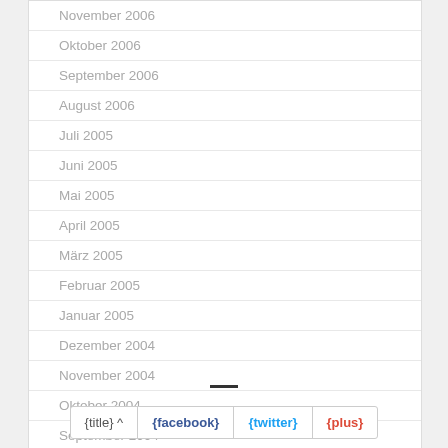November 2006
Oktober 2006
September 2006
August 2006
Juli 2005
Juni 2005
Mai 2005
April 2005
März 2005
Februar 2005
Januar 2005
Dezember 2004
November 2004
Oktober 2004
September 2004
August 2004
{title} ∧  {facebook}  {twitter}  {plus}